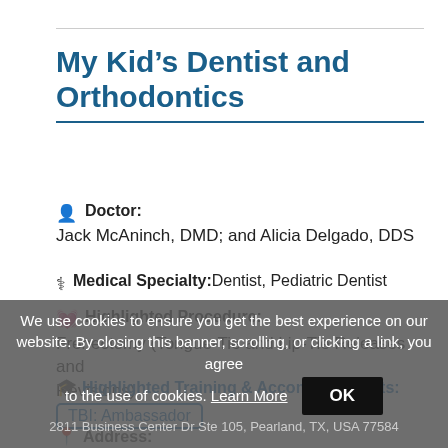My Kid’s Dentist and Orthodontics
Doctor: Jack McAninch, DMD; and Alicia Delgado, DDS
Medical Specialty: Dentist, Pediatric Dentist
Highlighted Procedure: Frenectomy (Tongue-Tie and Lip-Tie Releases and Revisions)
Highlighted Training & Accomplishments: TBI: Ambassador
Address: 2811 Business Center Dr Ste 105, Pearland, TX, USA 77584
Phone
We use cookies to ensure you get the best experience on our website. By closing this banner, scrolling, or clicking a link, you agree to the use of cookies. Learn More OK